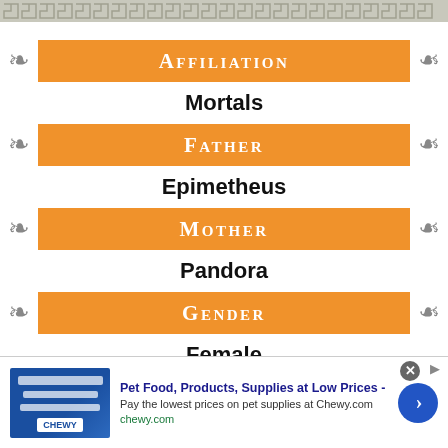AFFILIATION
Mortals
FATHER
Epimetheus
MOTHER
Pandora
GENDER
Female
[Figure (infographic): Advertisement banner for Chewy.com pet supplies]
Pet Food, Products, Supplies at Low Prices -
Pay the lowest prices on pet supplies at Chewy.com
chewy.com